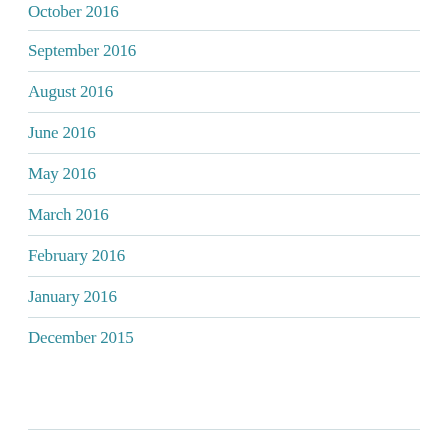October 2016
September 2016
August 2016
June 2016
May 2016
March 2016
February 2016
January 2016
December 2015